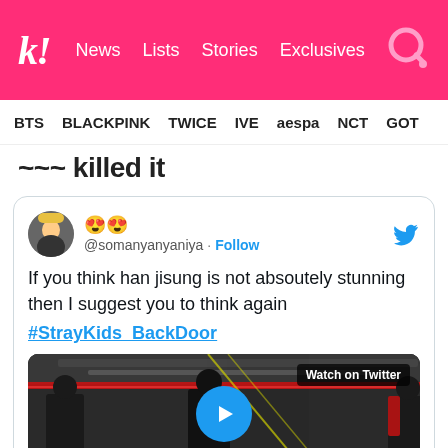k! News Lists Stories Exclusives
BTS BLACKPINK TWICE IVE aespa NCT GOT7
... killed it
[Figure (screenshot): Embedded tweet from @somanyanyaniya with star-struck emoji, Follow button, Twitter bird icon. Tweet text: 'If you think han jisung is not absoutely stunning then I suggest you to think again #StrayKids_BackDoor'. Below is a video thumbnail showing figures in dark clothing, a red laser beam, a play button, and a 'Watch on Twitter' label.]